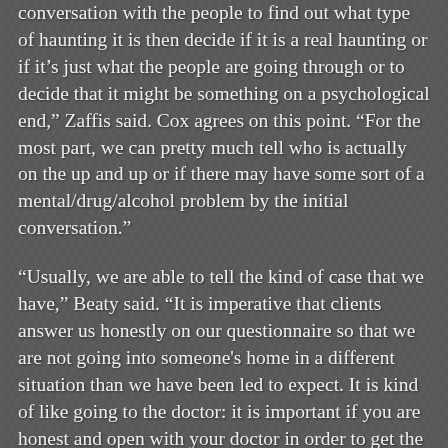conversation with the people to find out what type of haunting it is then decide if it is a real haunting or if it’s just what the people are going through or to decide that it might be something on a psychological end,” Zaffis said. Cox agrees on this point. “For the most part, we can pretty much tell who is actually on the up and up or if there may have some sort of a mental/drug/alcohol problem by the initial conversation.”
“Usually, we are able to tell the kind of case that we have,” Beaty said. “It is imperative that clients answer us honestly on our questionnaire so that we are not going into someone's home in a different situation than we have been led to expect. It is kind of like going to the doctor: it is important if you are honest and open with your doctor in order to get the best possible care.”
Cox makes one exception on this point: “If there seems to be an urgency to the caller's request, we will make exceptions and be there as soon as possible to do whatever we can and to ease the minds of those who